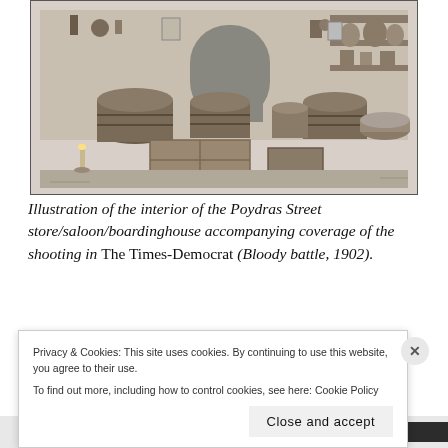[Figure (illustration): Black and white illustration of the interior of the Poydras Street store/saloon/boardinghouse, showing barrels, crates, shelves with items, an arched doorway, and various goods scattered around the room.]
Illustration of the interior of the Poydras Street store/saloon/boardinghouse accompanying coverage of the shooting in The Times-Democrat (Bloody battle, 1902).
Privacy & Cookies: This site uses cookies. By continuing to use this website, you agree to their use. To find out more, including how to control cookies, see here: Cookie Policy